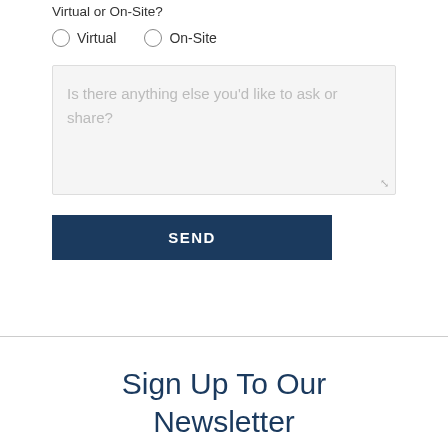Virtual or On-Site?
Virtual   On-Site
Is there anything else you'd like to ask or share?
SEND
Sign Up To Our Newsletter
First Name